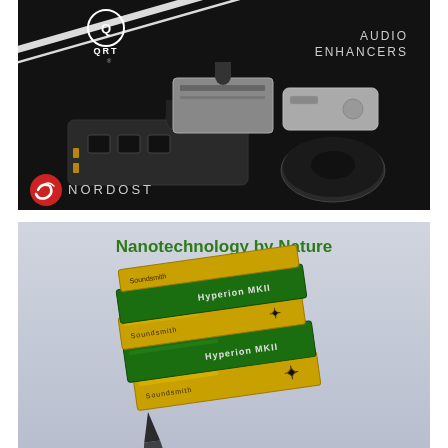[Figure (photo): Nordost QRT Audio Enhancers advertisement. Dark background with diagonal white stripes. Shows multiple audio enhancement devices in silver/grey and black. QRT logo top center-left, 'AUDIO ENHANCERS' top right in white letters. Nordost logo (red swirl icon) with 'NORDOST' text bottom left.]
[Figure (photo): Soundsmith Hyperion MKII phono cartridge advertisement. Light grey/blue background. Title 'Nanotechnology by Nature' in bold green text at top. Shows stacked green and gold phono cartridges labeled 'Soundsmith' and 'Hyperion MKII'.]